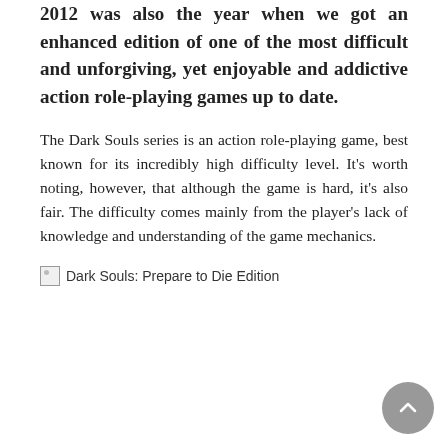2012 was also the year when we got an enhanced edition of one of the most difficult and unforgiving, yet enjoyable and addictive action role-playing games up to date.
The Dark Souls series is an action role-playing game, best known for its incredibly high difficulty level. It's worth noting, however, that although the game is hard, it's also fair. The difficulty comes mainly from the player's lack of knowledge and understanding of the game mechanics.
[Figure (illustration): Broken image placeholder with alt text: Dark Souls: Prepare to Die Edition]